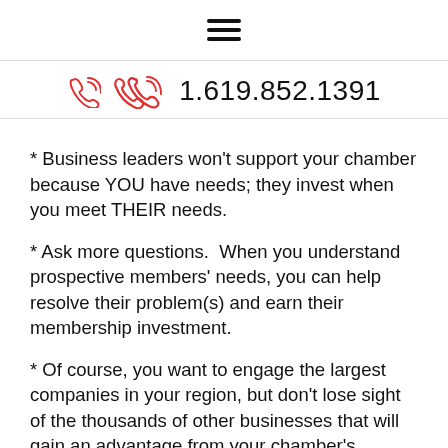hamburger menu icon
1.619.852.1391
* Business leaders won't support your chamber because YOU have needs; they invest when you meet THEIR needs.
* Ask more questions.  When you understand prospective members' needs, you can help resolve their problem(s) and earn their membership investment.
* Of course, you want to engage the largest companies in your region, but don't lose sight of the thousands of other businesses that will gain an advantage from your chamber's services and resources.
* Business leaders won't merely subsidize your